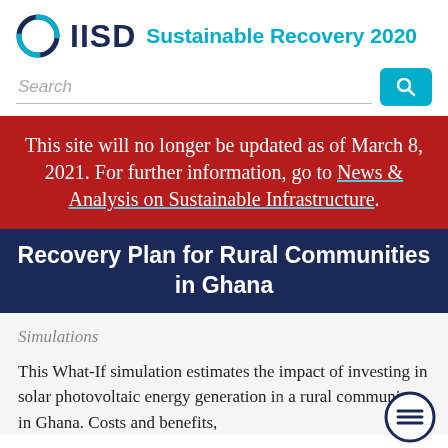IISD Sustainable Recovery 2020
Search
This site will no longer be updated as of March 8, 2021. For further information, go to News & Analysis on Sustainable Infrastructure.
Recovery Plan for Rural Communities in Ghana
Simulations
This What-If simulation estimates the impact of investing in solar photovoltaic energy generation in a rural community in Ghana. Costs and benefits,